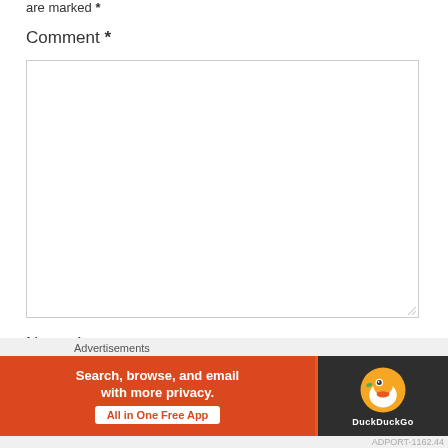are marked *
Comment *
Name *
[Figure (screenshot): DuckDuckGo advertisement banner: orange left section with text 'Search, browse, and email with more privacy. All in One Free App', dark right section with DuckDuckGo duck logo and brand name]
Advertisements